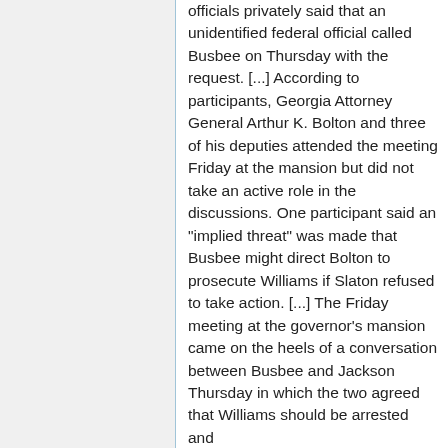officials privately said that an unidentified federal official called Busbee on Thursday with the request. [...] According to participants, Georgia Attorney General Arthur K. Bolton and three of his deputies attended the meeting Friday at the mansion but did not take an active role in the discussions. One participant said an "implied threat" was made that Busbee might direct Bolton to prosecute Williams if Slaton refused to take action. [...] The Friday meeting at the governor's mansion came on the heels of a conversation between Busbee and Jackson Thursday in which the two agreed that Williams should be arrested and